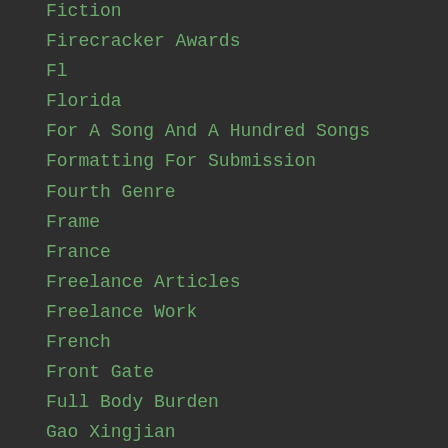Fiction
Firecracker Awards
Fl
Florida
For A Song And A Hundred Songs
Formatting For Submission
Fourth Genre
Frame
France
Freelance Articles
Freelance Work
French
Front Gate
Full Body Burden
Gao Xingjian
Genre
Geological Sites
Geology
Georgia
Germany
Going By Water